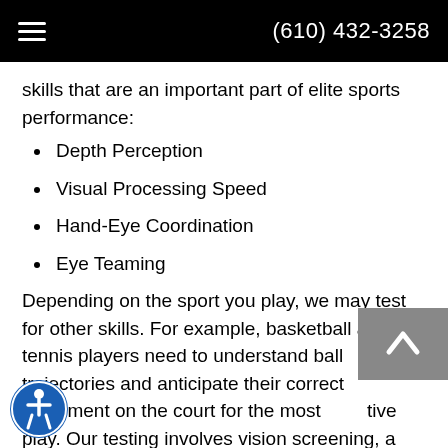(610) 432-3258
skills that are an important part of elite sports performance:
Depth Perception
Visual Processing Speed
Hand-Eye Coordination
Eye Teaming
Depending on the sport you play, we may test for other skills. For example, basketball and tennis players need to understand ball trajectories and anticipate their correct placement on the court for the most [effec]tive play. Our testing involves vision screening, a [lot of] one-on-one time with our diagnostician, and